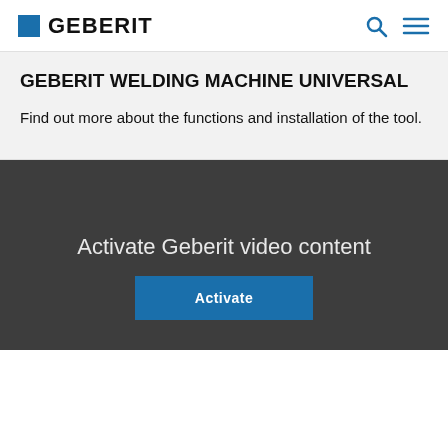GEBERIT
GEBERIT WELDING MACHINE UNIVERSAL
Find out more about the functions and installation of the tool.
Activate Geberit video content
Activate